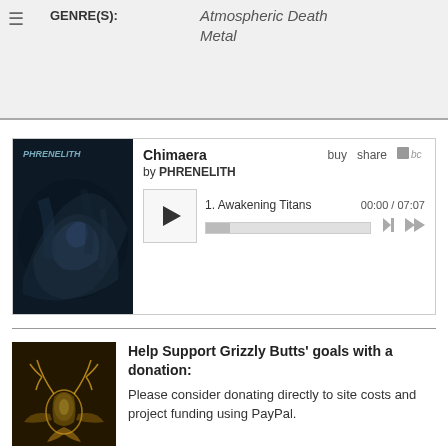≡
GENRE(S): Atmospheric Death Metal
[Figure (screenshot): Bandcamp music player widget for 'Chimaera' by PHRENELITH. Shows album art (dark atmospheric cover), track 1 'Awakening Titans', time 00:00 / 07:07, play button, progress bar, and navigation controls. Options: buy, share, bc logo.]
Help Support Grizzly Butts' goals with a donation:
Please consider donating directly to site costs and project funding using PayPal.
[Figure (illustration): Dark image with glowing white/gold figure of a creature or being with antlers/wings on a dark brown background, logo style illustration.]